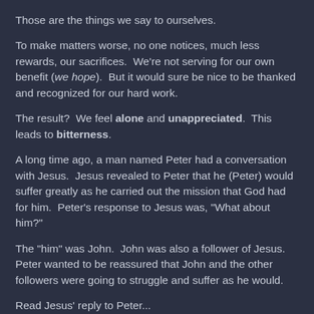Those are the things we say to ourselves.
To make matters worse, no one notices, much less rewards, our sacrifices.  We're not serving for our own benefit (we hope).  But it would sure be nice to be thanked and recognized for our hard work.
The result?  We feel alone and unappreciated.  This leads to bitterness.
A long time ago, a man named Peter had a conversation with Jesus.  Jesus revealed to Peter that he (Peter) would suffer greatly as he carried out the mission that God had for him.  Peter's response to Jesus was, "What about him?"
The "him" was John.  John was also a follower of Jesus.  Peter wanted to be reassured that John and the other followers were going to struggle and suffer as he would.
Read Jesus' reply to Peter...